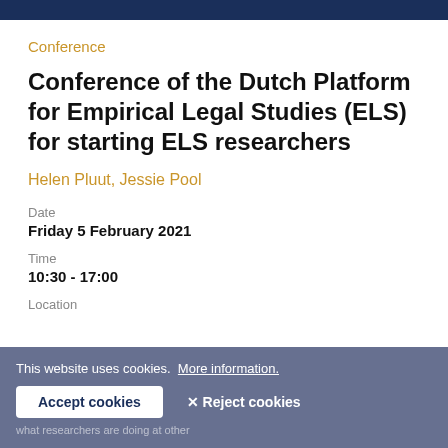Conference
Conference of the Dutch Platform for Empirical Legal Studies (ELS) for starting ELS researchers
Helen Pluut, Jessie Pool
Date
Friday 5 February 2021
Time
10:30 - 17:00
Location
This website uses cookies. More information.
Accept cookies  ✕ Reject cookies